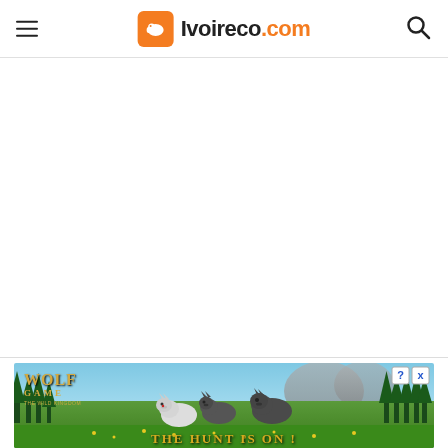Ivoireco.com — navigation header with hamburger menu, logo, and search icon
[Figure (screenshot): White blank content area below the header (advertisement or content loading area)]
[Figure (illustration): Wolf Game: The Wild Kingdom advertisement banner showing wolves in a forest meadow with text 'THE HUNT IS ON !']